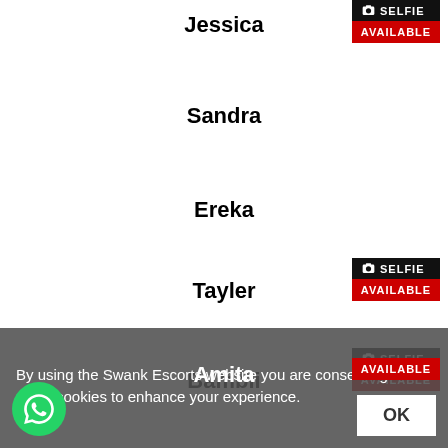Jessica
SELFIE
AVAILABLE
Sandra
Ereka
Tayler
SELFIE
AVAILABLE
Bambii
SELFIE
AVAILABLE
Amita
AVAILABLE
By using the Swank Escorts website you are consenting to us using cookies to enhance your experience.
OK